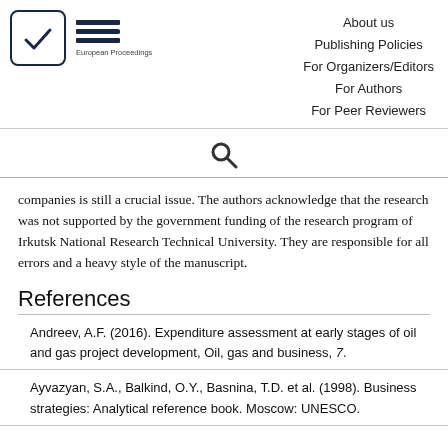European Proceedings | About us | Publishing Policies | For Organizers/Editors | For Authors | For Peer Reviewers
companies is still a crucial issue. The authors acknowledge that the research was not supported by the government funding of the research program of Irkutsk National Research Technical University. They are responsible for all errors and a heavy style of the manuscript.
References
Andreev, A.F. (2016). Expenditure assessment at early stages of oil and gas project development, Oil, gas and business, 7.
Ayvazyan, S.A., Balkind, O.Y., Basnina, T.D. et al. (1998). Business strategies: Analytical reference book. Moscow: UNESCO.